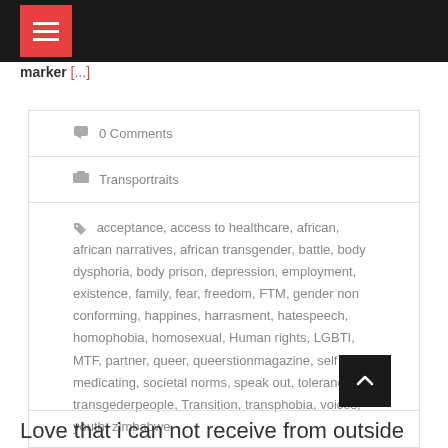marker [...]
0 Comments
Transportraits
acceptance, access to healthcare, african, african narratives, african transgender, battle, body dysphoria, body prison, depression, employment, existence, family, fear, freedom, FTM, gender non conforming, happines, harrasment, hatespeech, homophobia, homosexual, Human rights, LGBTI, MTF, partner, queer, queerstionmagazine, self medicating, societal norms, speak out, tolerance, transgederpeople, Transition, transphobia, voices, youth, zimbabwe
Love that i can not receive from outside